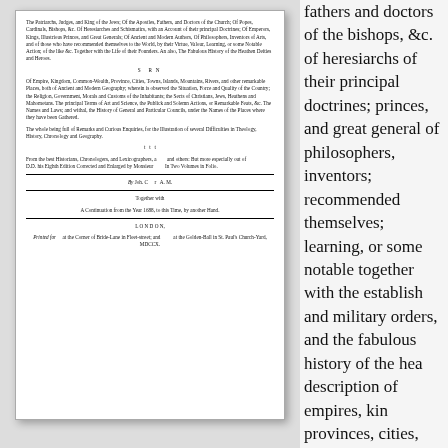[Figure (photo): Scanned title page of an old book, showing dense small-font text describing the contents of the work, including references to patriarchs, judges, apostles, fathers, doctors, popes, cardinals, bishops, heresiarchs, philosophers, inventors, empires, kingdoms, provinces, cities, towns, islands, mountains, rivers, and other geographical places. Text mentions it is compiled from the best historians, chronologers, and lexicographers, corrected and enlarged by Monsieur, in two volumes in folio. By Joh. C. A.M. Together with A Continuation from the Year 1688, to this Time, by another Hand. LONDON, imprint at bottom.]
fathers and doctors of the bishops, &c. of heresiarchs of their principal doctrines; princes, and great general of philosophers, inventors; recommended themselves; learning, or some notable together with the establish and military orders, and the fabulous history of the hea description of empires, kin provinces, cities, towns, isl considerable places, both wherein is abserved the si country; the religion, gover inhabitants; the sects of Ch mahometans. The principa publick and solemn actions statutes and laws; and with particular councils, under t